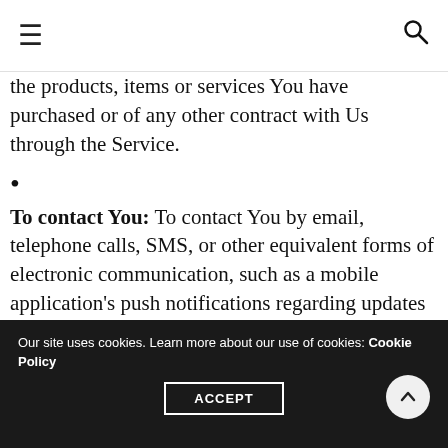≡  🔍
the products, items or services You have purchased or of any other contract with Us through the Service.
•
To contact You: To contact You by email, telephone calls, SMS, or other equivalent forms of electronic communication, such as a mobile application's push notifications regarding updates or informative communications related to the functionalities, products or contracted services, including the security updates, when necessary or reasonable for their implementation.
Our site uses cookies. Learn more about our use of cookies: Cookie Policy  ACCEPT